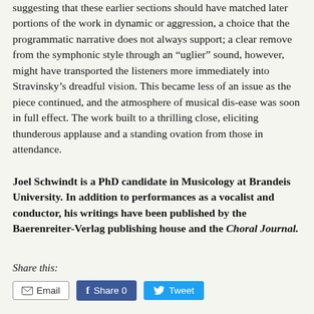suggesting that these earlier sections should have matched later portions of the work in dynamic or aggression, a choice that the programmatic narrative does not always support; a clear remove from the symphonic style through an “uglier” sound, however, might have transported the listeners more immediately into Stravinsky’s dreadful vision. This became less of an issue as the piece continued, and the atmosphere of musical dis-ease was soon in full effect. The work built to a thrilling close, eliciting thunderous applause and a standing ovation from those in attendance.
Joel Schwindt is a PhD candidate in Musicology at Brandeis University. In addition to performances as a vocalist and conductor, his writings have been published by the Baerenreiter-Verlag publishing house and the Choral Journal.
Share this: